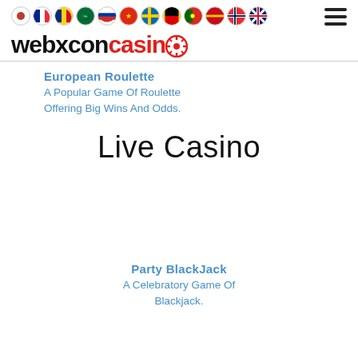webxconcasino — flag icons row with hamburger menu
European Roulette
A Popular Game Of Roulette Offering Big Wins And Odds.
Live Casino
Party BlackJack
A Celebratory Game Of Blackjack.